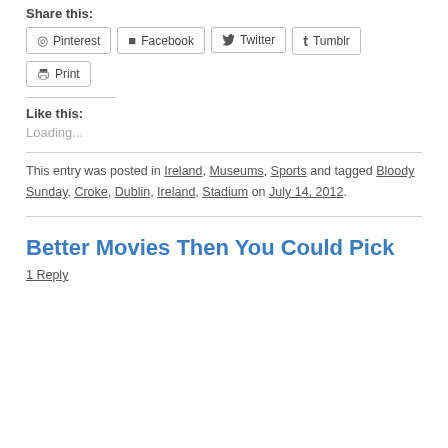Share this:
Pinterest
Facebook
Twitter
Tumblr
Print
Like this:
Loading...
This entry was posted in Ireland, Museums, Sports and tagged Bloody Sunday, Croke, Dublin, Ireland, Stadium on July 14, 2012.
Better Movies Then You Could Pick
1 Reply